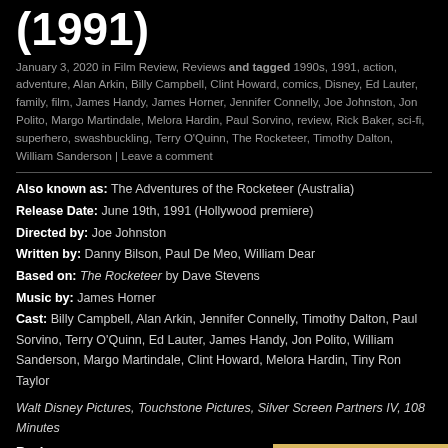(1991)
January 3, 2020 in Film Review, Reviews and tagged 1990s, 1991, action, adventure, Alan Arkin, Billy Campbell, Clint Howard, comics, Disney, Ed Lauter, family, film, James Handy, James Horner, Jennifer Connelly, Joe Johnston, Jon Polito, Margo Martindale, Melora Hardin, Paul Sorvino, review, Rick Baker, sci-fi, superhero, swashbuckling, Terry O'Quinn, The Rocketeer, Timothy Dalton, William Sanderson | Leave a comment
Also known as: The Adventures of the Rocketeer (Australia)
Release Date: June 19th, 1991 (Hollywood premiere)
Directed by: Joe Johnston
Written by: Danny Bilson, Paul De Meo, William Dear
Based on: The Rocketeer by Dave Stevens
Music by: James Horner
Cast: Billy Campbell, Alan Arkin, Jennifer Connelly, Timothy Dalton, Paul Sorvino, Terry O'Quinn, Ed Lauter, James Handy, Jon Polito, William Sanderson, Margo Martindale, Clint Howard, Melora Hardin, Tiny Ron Taylor
Walt Disney Pictures, Touchstone Pictures, Silver Screen Partners IV, 108 Minutes
Review:
[Figure (logo): ROCKETEER logo in gold/bronze decorative lettering on a golden background]